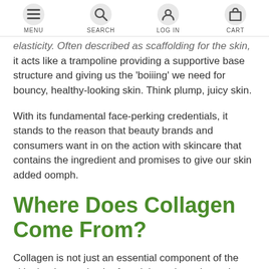MENU  SEARCH  LOG IN  CART
elasticity. Often described as scaffolding for the skin, it acts like a trampoline providing a supportive base structure and giving us the 'boiiing' we need for bouncy, healthy-looking skin. Think plump, juicy skin.
With its fundamental face-perking credentials, it stands to the reason that beauty brands and consumers want in on the action with skincare that contains the ingredient and promises to give our skin added oomph.
Where Does Collagen Come From?
Collagen is not just an essential component of the skin, but it can also be found throughout the entire body. There are at least 28 different types of